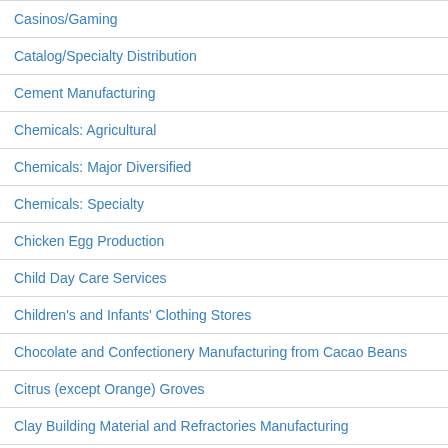Casinos/Gaming
Catalog/Specialty Distribution
Cement Manufacturing
Chemicals: Agricultural
Chemicals: Major Diversified
Chemicals: Specialty
Chicken Egg Production
Child Day Care Services
Children's and Infants' Clothing Stores
Chocolate and Confectionery Manufacturing from Cacao Beans
Citrus (except Orange) Groves
Clay Building Material and Refractories Manufacturing
Clay and Ceramic and Refractory Minerals Mining